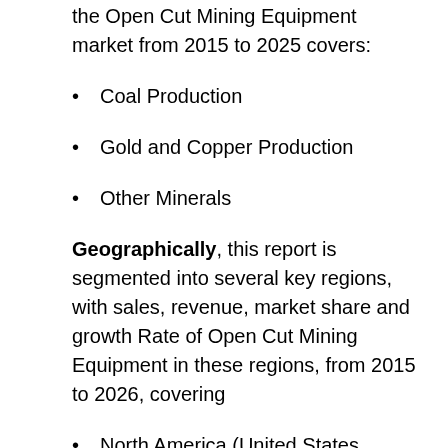the Open Cut Mining Equipment market from 2015 to 2025 covers:
Coal Production
Gold and Copper Production
Other Minerals
Geographically, this report is segmented into several key regions, with sales, revenue, market share and growth Rate of Open Cut Mining Equipment in these regions, from 2015 to 2026, covering
North America (United States, Canada and Mexico)
Europe (Germany, UK, France, Italy, Russia and Turkey etc.)